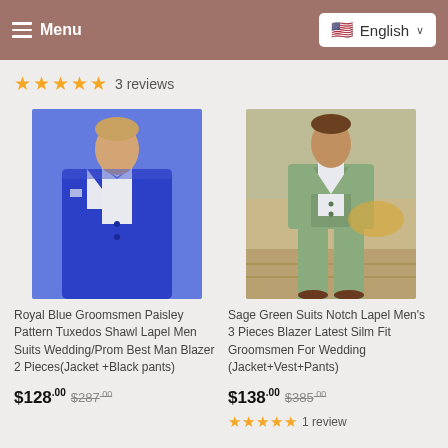Menu  English
★★★★★ 3 reviews
[Figure (photo): Royal Blue Groomsmen suit photo - man wearing a royal blue tuxedo with shawl lapel and bow tie]
[Figure (photo): Sage Green suit photo - man wearing a sage green 3-piece suit with notch lapel]
Royal Blue Groomsmen Paisley Pattern Tuxedos Shawl Lapel Men Suits Wedding/Prom Best Man Blazer 2 Pieces(Jacket +Black pants)
$128.00 $287.00
Sage Green Suits Notch Lapel Men's 3 Pieces Blazer Latest Silm Fit Groomsmen For Wedding (Jacket+Vest+Pants)
$138.00 $385.00
★★★★★ 1 review